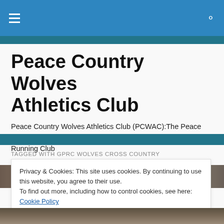Navigation bar with hamburger menu and search icon
Peace Country Wolves Athletics Club
Peace Country Wolves Athletics Club (PCWAC):The Peace Country's Competitive Track & Field and Cross Country Running Club
TAGGED WITH GPRC WOLVES CROSS COUNTRY
[Figure (photo): Photo strip of athletes/cross country scene, partially visible]
Privacy & Cookies: This site uses cookies. By continuing to use this website, you agree to their use.
To find out more, including how to control cookies, see here: Cookie Policy
[Figure (photo): Bottom photo strip showing runners/athletes]